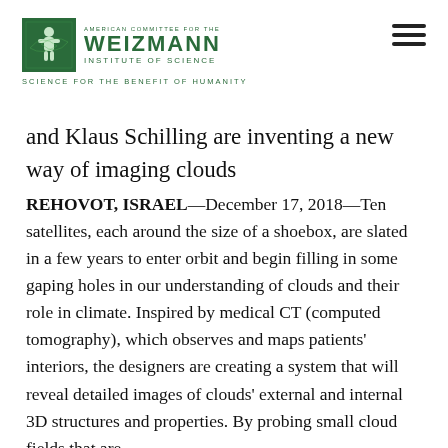AMERICAN COMMITTEE FOR THE WEIZMANN INSTITUTE OF SCIENCE — SCIENCE FOR THE BENEFIT OF HUMANITY
and Klaus Schilling are inventing a new way of imaging clouds
REHOVOT, ISRAEL—December 17, 2018—Ten satellites, each around the size of a shoebox, are slated in a few years to enter orbit and begin filling in some gaping holes in our understanding of clouds and their role in climate. Inspired by medical CT (computed tomography), which observes and maps patients' interiors, the designers are creating a system that will reveal detailed images of clouds' external and internal 3D structures and properties. By probing small cloud fields that are